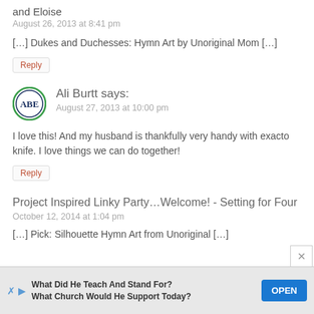and Eloise
August 26, 2013 at 8:41 pm
[…] Dukes and Duchesses: Hymn Art by Unoriginal Mom […]
Reply
[Figure (illustration): Circular green-bordered monogram avatar with letters ABE in dark blue]
Ali Burtt says:
August 27, 2013 at 10:00 pm
I love this! And my husband is thankfully very handy with exacto knife. I love things we can do together!
Reply
Project Inspired Linky Party…Welcome! - Setting for Four
October 12, 2014 at 1:04 pm
[…] Pick: Silhouette Hymn Art from Unoriginal […]
[Figure (infographic): Advertisement banner: What Did He Teach And Stand For? What Church Would He Support Today? with OPEN button]